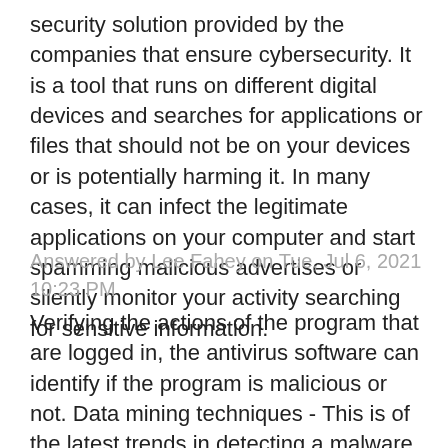security solution provided by the companies that ensure cybersecurity. It is a tool that runs on different digital devices and searches for applications or files that should not be on your devices or is potentially harming it. In many cases, it can infect the legitimate applications on your computer and start spamming malicious advertises or silently monitor your activity searching for sensitive information.
Answered by Lee Fahey on Tue, Jul 6, 2021 10:23 PM
Verifying the actions of the program that are logged in, the antivirus software can identify if the program is malicious or not. Data mining techniques - This is of the latest trends in detecting a malware. With a set of program features, Data mining helps to find if